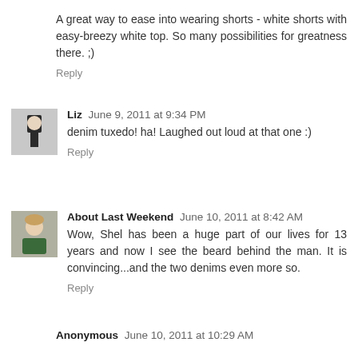A great way to ease into wearing shorts - white shorts with easy-breezy white top. So many possibilities for greatness there. ;)
Reply
Liz  June 9, 2011 at 9:34 PM
denim tuxedo! ha! Laughed out loud at that one :)
Reply
About Last Weekend  June 10, 2011 at 8:42 AM
Wow, Shel has been a huge part of our lives for 13 years and now I see the beard behind the man. It is convincing...and the two denims even more so.
Reply
Anonymous  June 10, 2011 at 10:29 AM